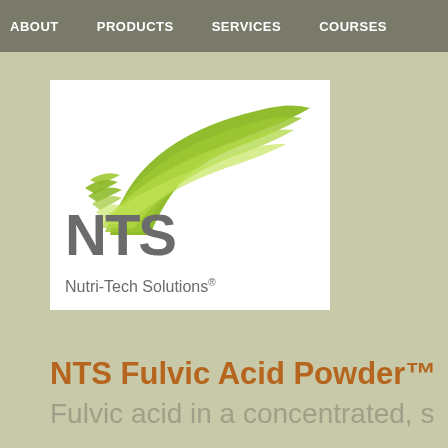ABOUT   PRODUCTS   SERVICES   COURSES
[Figure (logo): NTS Nutri-Tech Solutions logo with green wave graphic above grey NTS lettering and subtitle]
NTS Fulvic Acid Powder™
Fulvic acid in a concentrated, s